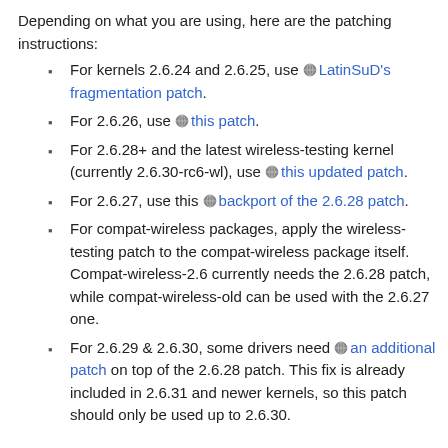Depending on what you are using, here are the patching instructions:
For kernels 2.6.24 and 2.6.25, use LatinSuD's fragmentation patch.
For 2.6.26, use this patch.
For 2.6.28+ and the latest wireless-testing kernel (currently 2.6.30-rc6-wl), use this updated patch.
For 2.6.27, use this backport of the 2.6.28 patch.
For compat-wireless packages, apply the wireless-testing patch to the compat-wireless package itself. Compat-wireless-2.6 currently needs the 2.6.28 patch, while compat-wireless-old can be used with the 2.6.27 one.
For 2.6.29 & 2.6.30, some drivers need an additional patch on top of the 2.6.28 patch. This fix is already included in 2.6.31 and newer kernels, so this patch should only be used up to 2.6.30.